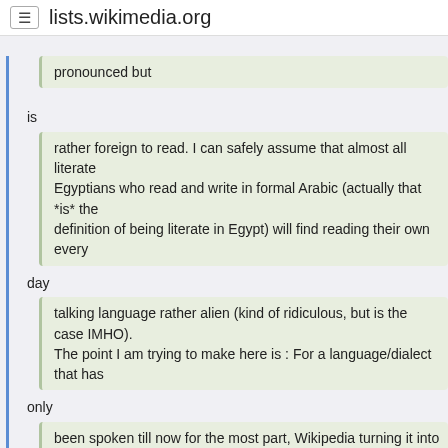lists.wikimedia.org
pronounced but
is
rather foreign to read. I can safely assume that almost all literate
 Egyptians who read and write in formal Arabic (actually that *is* the
 definition of being literate in Egypt) will find reading their own every
day
talking language rather alien (kind of ridiculous, but is the case IMHO).
 The point I am trying to make here is : For a language/dialect that has
only
been spoken till now for the most part, Wikipedia turning it into a